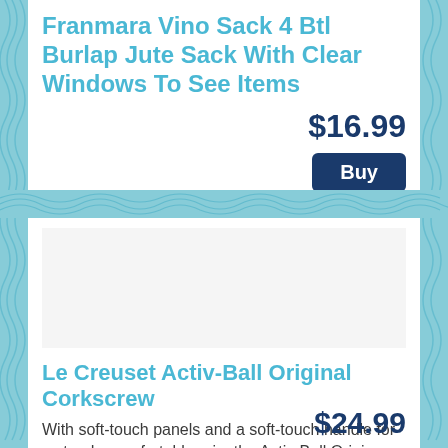Franmara Vino Sack 4 Btl Burlap Jute Sack With Clear Windows To See Items
$16.99
Buy
[Figure (photo): Product image area for Le Creuset Activ-Ball Original Corkscrew]
Le Creuset Activ-Ball Original Corkscrew
With soft-touch panels and a soft-touch handle for a steady, comfortable grip, the Activ-Ball Origin...
$24.99